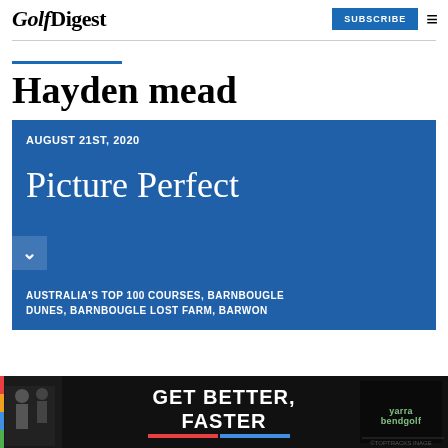Golf Digest | SUBSCRIBE
Hayden mead
AUGUST 21ST, 2020
Picture Perfect
AUSTRALIA'S TOP 100 COURSES, BARNBOUGLE DUNES, BARNBOUGLE LOST FARM, BARWON
[Figure (photo): Advertisement banner: GET BETTER, FASTER - yarrabendgolf]